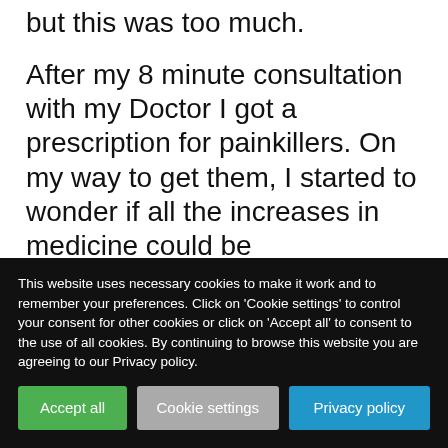but this was too much.
After my 8 minute consultation with my Doctor I got a prescription for painkillers. On my way to get them, I started to wonder if all the increases in medicine could be...
This website uses necessary cookies to make it work and to remember your preferences. Click on 'Cookie settings' to control your consent for other cookies or click on 'Accept all' to consent to the use of all cookies. By continuing to browse this website you are agreeing to our Privacy policy.
Accept all
Cookie settings
Privacy policy